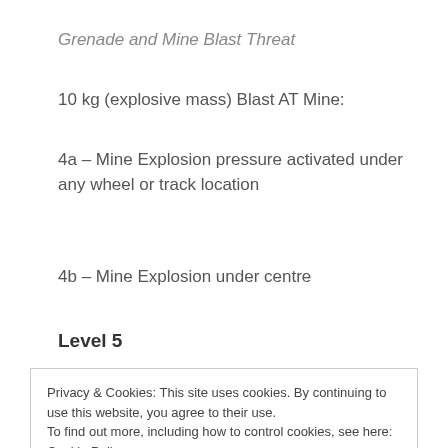Grenade and Mine Blast Threat
10 kg (explosive mass) Blast AT Mine:
4a – Mine Explosion pressure activated under any wheel or track location
4b – Mine Explosion under centre
Level 5
Privacy & Cookies: This site uses cookies. By continuing to use this website, you agree to their use.
To find out more, including how to control cookies, see here: Cookie Policy